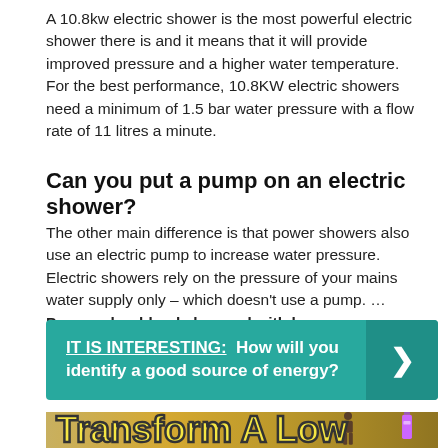A 10.8kw electric shower is the most powerful electric shower there is and it means that it will provide improved pressure and a higher water temperature. For the best performance, 10.8KW electric showers need a minimum of 1.5 bar water pressure with a flow rate of 11 litres a minute.
Can you put a pump on an electric shower?
The other main difference is that power showers also use an electric pump to increase water pressure. Electric showers rely on the pressure of your mains water supply only – which doesn't use a pump. … Pumps should only be used with low-pressure water systems.
[Figure (infographic): Teal/green banner with text: IT IS INTERESTING: How will you identify a good source of energy? with a right-pointing chevron arrow on the right side.]
[Figure (photo): Image banner with bold yellow text reading 'Transform A Low' with product images visible on the right side.]